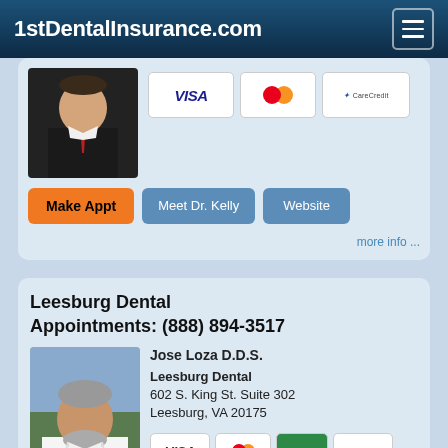1stDentalInsurance.com
[Figure (photo): Partial dentist card showing doctor photo and payment icons (Visa, MasterCard, CareCredit), with buttons: Make Appt, Meet Dr. Kelly, Website]
more info ...
Leesburg Dental
Appointments: (888) 894-3517
[Figure (photo): Photo of Jose Loza D.D.S., a middle-aged man with gray hair and beard, wearing a white coat]
Jose Loza D.D.S.
Leesburg Dental
602 S. King St. Suite 302
Leesburg, VA 20175